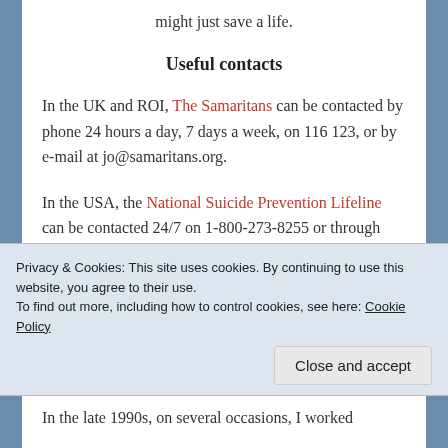might just save a life.
Useful contacts
In the UK and ROI, The Samaritans can be contacted by phone 24 hours a day, 7 days a week, on 116 123, or by e-mail at jo@samaritans.org.
In the USA, the National Suicide Prevention Lifeline can be contacted 24/7 on 1-800-273-8255 or through live chat (accessed from the website).
Privacy & Cookies: This site uses cookies. By continuing to use this website, you agree to their use.
To find out more, including how to control cookies, see here: Cookie Policy
Close and accept
In the late 1990s, on several occasions, I worked